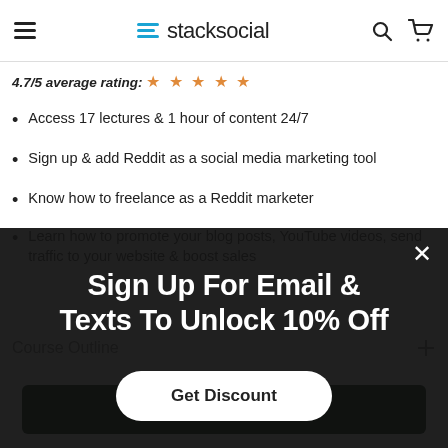stacksocial
4.7/5 average rating: ★ ★ ★ ★ ★
Access 17 lectures & 1 hour of content 24/7
Sign up & add Reddit as a social media marketing tool
Know how to freelance as a Reddit marketer
Learn how to promote your blog posts, YouTube videos, send traffic to your website & boost sales
Sign Up For Email & Texts To Unlock 10% Off
Get Discount
Course Outline
ADD TO CART ($39.99)